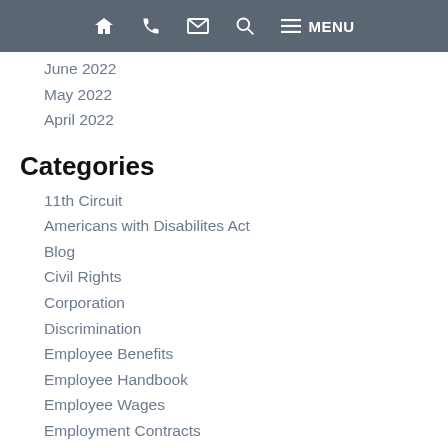Navigation bar with home, phone, email, search, and menu icons
June 2022
May 2022
April 2022
Categories
11th Circuit
Americans with Disabilites Act
Blog
Civil Rights
Corporation
Discrimination
Employee Benefits
Employee Handbook
Employee Wages
Employment Contracts
Employment Law
ERISA
Family and Medical Leave Act (FMLA)
Firm News
Gender Discrimination